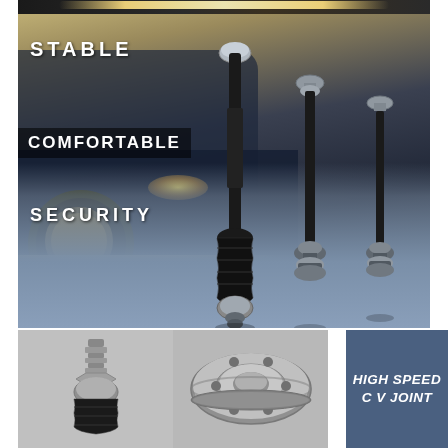[Figure (photo): Off-road truck with LED light bar on roof, photographed in desert environment at dusk. Product promotional image showing three driveshafts/CV axle shafts overlaid on lower portion of image against blue-grey background. Text overlays: STABLE, COMFORTABLE, SECURITY.]
STABLE
COMFORTABLE
SECURITY
[Figure (photo): Close-up photo of a CV joint ball stud / tie rod end component, chrome/silver metallic finish on dark background.]
[Figure (photo): Close-up photo of a CV joint hub/bearing assembly, chrome/silver metallic finish.]
HIGH SPEED
C V JOINT